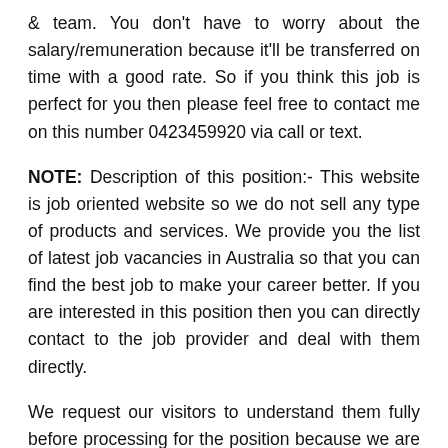& team. You don't have to worry about the salary/remuneration because it'll be transferred on time with a good rate. So if you think this job is perfect for you then please feel free to contact me on this number 0423459920 via call or text.
NOTE: Description of this position:- This website is job oriented website so we do not sell any type of products and services. We provide you the list of latest job vacancies in Australia so that you can find the best job to make your career better. If you are interested in this position then you can directly contact to the job provider and deal with them directly.
We request our visitors to understand them fully before processing for the position because we are not